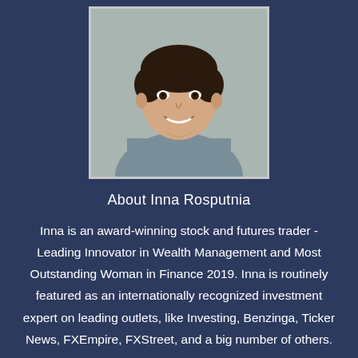[Figure (photo): Professional headshot of Inna Rosputnia, a woman with short dark hair wearing a gray top, smiling, against a light gray-blue background]
About Inna Rosputnia
Inna is an award-winning stock and futures trader - Leading Innovator in Wealth Management and Most Outstanding Woman in Finance 2019. Inna is routinely featured as an internationally recognized investment expert on leading outlets, like Investing, Benzinga, Ticker News, FXEmpire, FXStreet, and a big number of others.